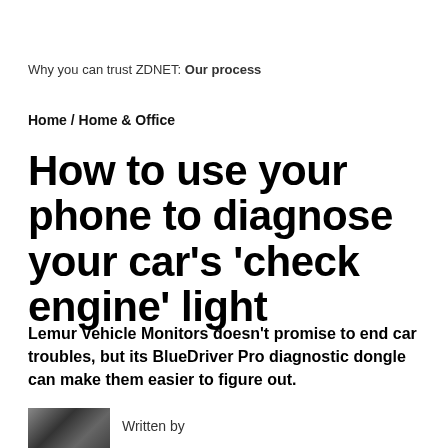Why you can trust ZDNET: Our process
Home / Home & Office
How to use your phone to diagnose your car's 'check engine' light
Lemur Vehicle Monitors doesn't promise to end car troubles, but its BlueDriver Pro diagnostic dongle can make them easier to figure out.
[Figure (photo): Author headshot photo in black and white]
Written by